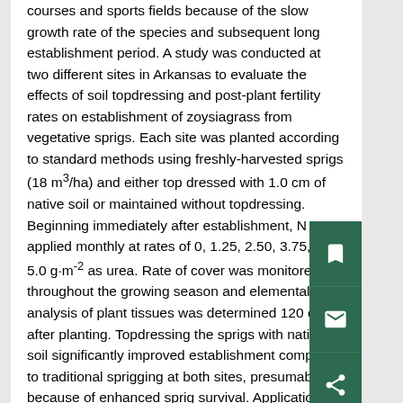courses and sports fields because of the slow growth rate of the species and subsequent long establishment period. A study was conducted at two different sites in Arkansas to evaluate the effects of soil topdressing and post-plant fertility rates on establishment of zoysiagrass from vegetative sprigs. Each site was planted according to standard methods using freshly-harvested sprigs (18 m³/ha) and either top dressed with 1.0 cm of native soil or maintained without topdressing. Beginning immediately after establishment, N was applied monthly at rates of 0, 1.25, 2.50, 3.75, or 5.0 g·m⁻² as urea. Rate of cover was monitored throughout the growing season and elemental analysis of plant tissues was determined 120 days after planting. Topdressing the sprigs with native soil significantly improved establishment compared to traditional sprigging at both sites, presumably because of enhanced sprig survival. Applications of N during the establishment period had little or no overall effect on establishment, although the 0 g·m⁻² rate was slightly inferior to all other rates.